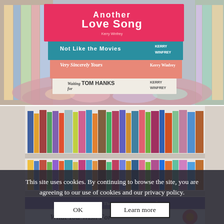[Figure (photo): Stack of books by Kerry Winfrey: Another Love Song (pink cover on top), Not Like the Movies (teal), Very Sincerely Yours, Waiting for Tom Hanks. Books are stacked on a colorful knitted/braided surface with more books in background.]
[Figure (photo): Bookshelf filled with colorful books in the background. In foreground, two book spines are visible: 'Katherine Center – The Bright Side of Disaster' (purple band) and 'What You Wish For' (with flower decoration). Partially obscured by cookie consent overlay.]
This site uses cookies. By continuing to browse the site, you are agreeing to our use of cookies and our privacy policy.